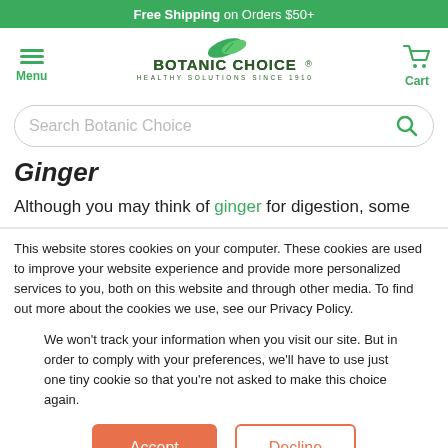Free Shipping on Orders $50+
[Figure (logo): Botanic Choice logo with green leaves and text: BOTANIC CHOICE HEALTHY SOLUTIONS SINCE 1910. Menu icon on left, Cart icon on right.]
Search Botanic Choice
Ginger
Although you may think of ginger for digestion, some
This website stores cookies on your computer. These cookies are used to improve your website experience and provide more personalized services to you, both on this website and through other media. To find out more about the cookies we use, see our Privacy Policy.
We won't track your information when you visit our site. But in order to comply with your preferences, we'll have to use just one tiny cookie so that you're not asked to make this choice again.
Accept | Decline